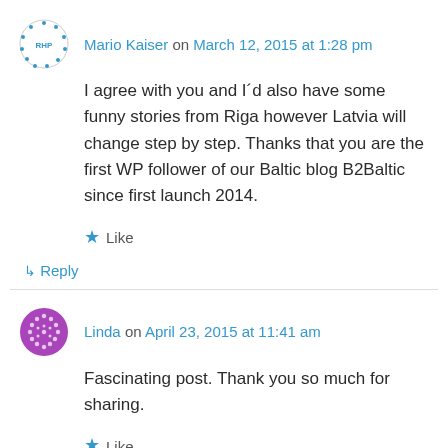Mario Kaiser on March 12, 2015 at 1:28 pm
I agree with you and I´d also have some funny stories from Riga however Latvia will change step by step. Thanks that you are the first WP follower of our Baltic blog B2Baltic since first launch 2014.
Like
↳ Reply
Linda on April 23, 2015 at 11:41 am
Fascinating post. Thank you so much for sharing.
Like